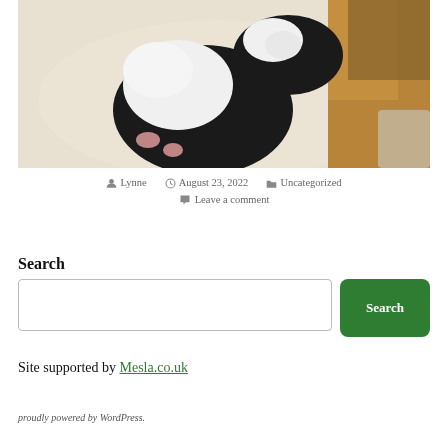[Figure (photo): Photo of newborn black and white puppies lying on a white blanket next to a dog's leg]
Lynne  August 23, 2022  Uncategorized  Leave a comment
Search
Site supported by Mesla.co.uk
proudly powered by WordPress.